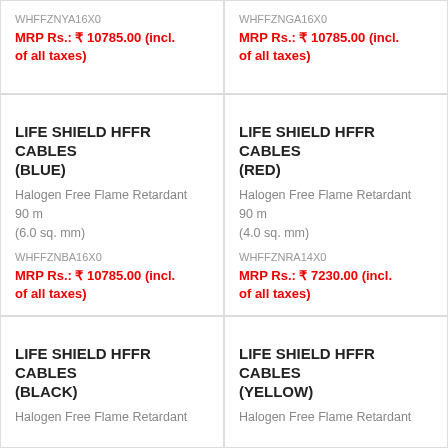WHFFZNYA16X0
MRP Rs.: ₹ 10785.00 (incl. of all taxes)
WHFFZNGA16X0
MRP Rs.: ₹ 10785.00 (incl. of all taxes)
LIFE SHIELD HFFR CABLES (BLUE)
Halogen Free Flame Retardant
90 m
(6.0 sq. mm)
WHFFZNBA16X0
MRP Rs.: ₹ 10785.00 (incl. of all taxes)
LIFE SHIELD HFFR CABLES (RED)
Halogen Free Flame Retardant
90 m
(4.0 sq. mm)
WHFFZNRA14X0
MRP Rs.: ₹ 7230.00 (incl. of all taxes)
LIFE SHIELD HFFR CABLES (BLACK)
Halogen Free Flame Retardant
LIFE SHIELD HFFR CABLES (YELLOW)
Halogen Free Flame Retardant